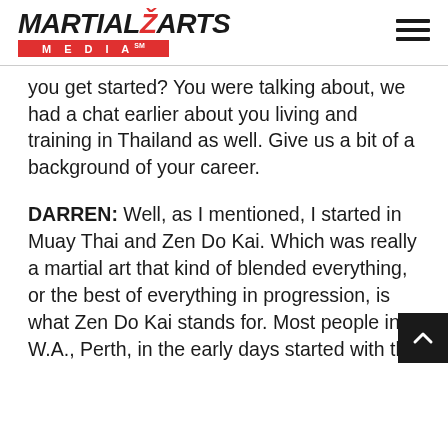MARTIAL ARTS MEDIA
…you get started? You were talking about, we had a chat earlier about you living and training in Thailand as well. Give us a bit of a background of your career.
DARREN: Well, as I mentioned, I started in Muay Thai and Zen Do Kai. Which was really a martial art that kind of blended everything, or the best of everything in progression, is what Zen Do Kai stands for. Most people in W.A., Perth, in the early days started with the